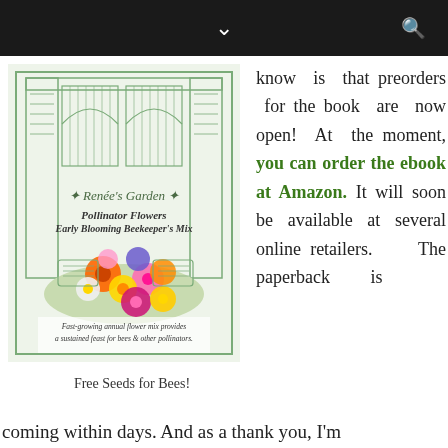[Figure (illustration): Renee's Garden seed packet for Pollinator Flowers Early Blooming Beekeeper's Mix, showing colorful wildflowers including orange, pink, yellow, purple, and white blooms with text 'Fast-growing annual flower mix provides a sustained feast for bees & other pollinators.']
Free Seeds for Bees!
know is that preorders for the book are now open! At the moment, you can order the ebook at Amazon. It will soon be available at several online retailers. The paperback is coming within days. And as a thank you, I'm